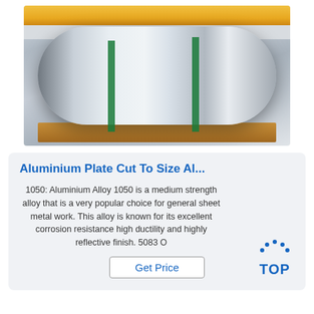[Figure (photo): Large aluminium coil/roll on wooden pallet in an industrial warehouse with yellow overhead crane beams, strapped with green bands.]
Aluminium Plate Cut To Size Al...
1050: Aluminium Alloy 1050 is a medium strength alloy that is a very popular choice for general sheet metal work. This alloy is known for its excellent corrosion resistance high ductility and highly reflective finish. 5083 O
[Figure (logo): TOP logo: blue dotted arc above the letters TOP in blue bold text]
Get Price